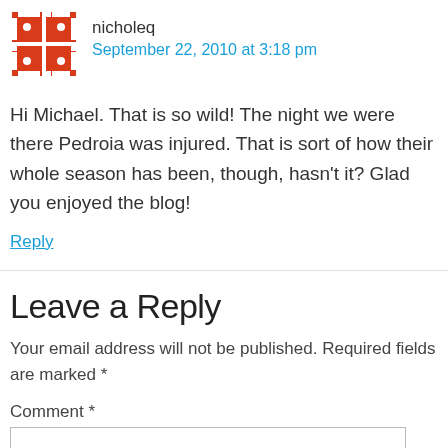[Figure (logo): Red decorative avatar icon with cross/diamond pattern]
nicholeq
September 22, 2010 at 3:18 pm
Hi Michael. That is so wild! The night we were there Pedroia was injured. That is sort of how their whole season has been, though, hasn't it? Glad you enjoyed the blog!
Reply
Leave a Reply
Your email address will not be published. Required fields are marked *
Comment *